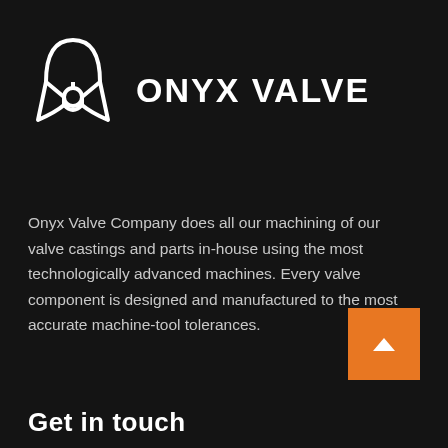[Figure (logo): Onyx Valve company logo — abstract valve/butterfly icon in white outline, consisting of a semicircle dome on top, a circle in the middle, and two wing-like triangular shapes below, resembling a butterfly valve cross-section]
ONYX VALVE
Onyx Valve Company does all our machining of our valve castings and parts in-house using the most technologically advanced machines. Every valve component is designed and manufactured to the most accurate machine-tool tolerances.
Get in touch